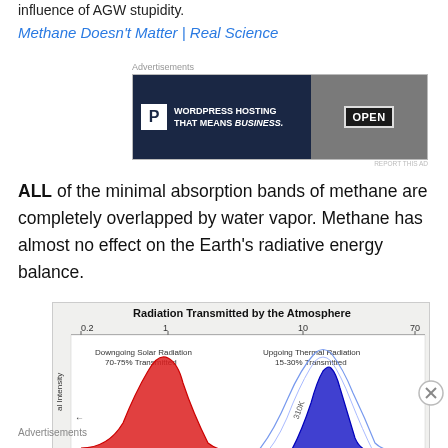influence of AGW stupidity.
Methane Doesn't Matter | Real Science
[Figure (screenshot): WordPress Hosting advertisement banner with 'WORDPRESS HOSTING THAT MEANS BUSINESS.' text and OPEN sign image]
ALL of the minimal absorption bands of methane are completely overlapped by water vapor. Methane has almost no effect on the Earth's radiative energy balance.
[Figure (continuous-plot): Chart titled 'Radiation Transmitted by the Atmosphere' showing downgoing solar radiation (70-75% Transmitted) as a red bell curve on left, and upgoing thermal radiation (15-30% Transmitted) as blue curves on right. X-axis shows values 0.2, 1, 10, 70. Y-axis label 'al Intensity'.]
Advertisements